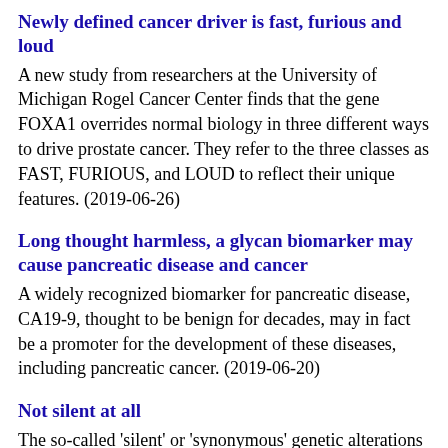Newly defined cancer driver is fast, furious and loud
A new study from researchers at the University of Michigan Rogel Cancer Center finds that the gene FOXA1 overrides normal biology in three different ways to drive prostate cancer. They refer to the three classes as FAST, FURIOUS, and LOUD to reflect their unique features. (2019-06-26)
Long thought harmless, a glycan biomarker may cause pancreatic disease and cancer
A widely recognized biomarker for pancreatic disease, CA19-9, thought to be benign for decades, may in fact be a promoter for the development of these diseases, including pancreatic cancer. (2019-06-20)
Not silent at all
The so-called 'silent' or 'synonymous' genetic alterations do not result in altered proteins. But they can nevertheless influence numerous functions of the cell and thus also disease causes. Scientists from the German Cancer...